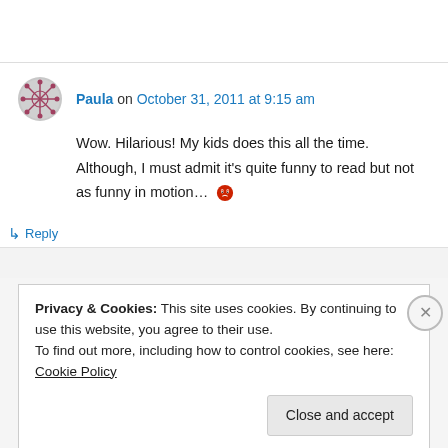Paula on October 31, 2011 at 9:15 am
Wow. Hilarious! My kids does this all the time. Although, I must admit it's quite funny to read but not as funny in motion... 😠
↳ Reply
Privacy & Cookies: This site uses cookies. By continuing to use this website, you agree to their use. To find out more, including how to control cookies, see here: Cookie Policy
Close and accept